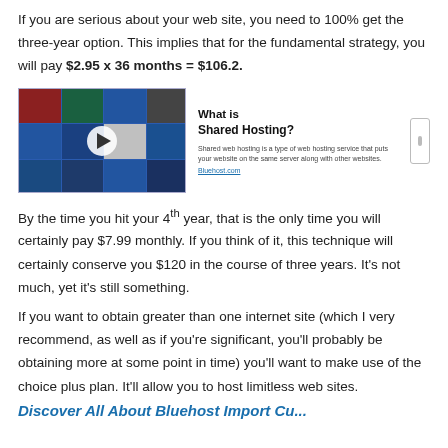If you are serious about your web site, you need to 100% get the three-year option. This implies that for the fundamental strategy, you will pay $2.95 x 36 months = $106.2.
[Figure (screenshot): Embedded video thumbnail showing a grid of people's headshots on a blue background with a play button, and beside it text reading 'What is Shared Hosting?' with a brief description and a link.]
By the time you hit your 4th year, that is the only time you will certainly pay $7.99 monthly. If you think of it, this technique will certainly conserve you $120 in the course of three years. It's not much, yet it's still something.
If you want to obtain greater than one internet site (which I very recommend, as well as if you're significant, you'll probably be obtaining more at some point in time) you'll want to make use of the choice plus plan. It'll allow you to host limitless web sites.
Discover All About Bluehost Import Cu...